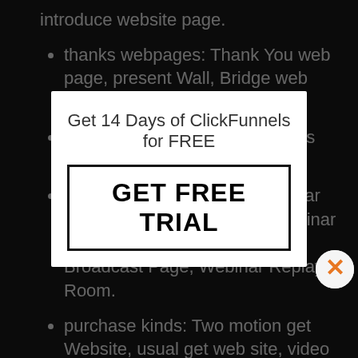introduce website page.
thanks webpages: Thank You web page, present Wall, Bridge web page, Share website page
OTO's: Upsells Sites, Downsells Internet websites.
Webinar internet pages: Webinar Registration Web content, Webinar Verification Page, Webinar Broadcast Page, Webinar Replay Room.
purchase kinds: Two motion get Website, usual get web site, video clip revenue Letter buy Page, profits Letter buy Website, product Introduce buy Web content.
Other web pages: Application Page, talk to
[Figure (screenshot): Popup overlay with text 'Get 14 Days of ClickFunnels for FREE' and a button labeled 'GET FREE TRIAL', with an orange X close button in the upper right of the popup area.]